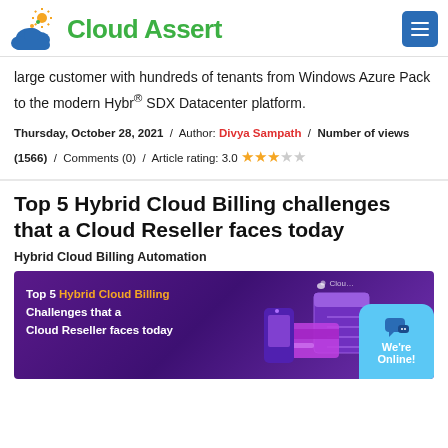Cloud Assert
large customer with hundreds of tenants from Windows Azure Pack to the modern Hybr® SDX Datacenter platform.
Thursday, October 28, 2021 / Author: Divya Sampath / Number of views (1566) / Comments (0) / Article rating: 3.0 ★★★☆☆
Top 5 Hybrid Cloud Billing challenges that a Cloud Reseller faces today
Hybrid Cloud Billing Automation
[Figure (illustration): Purple banner image showing 'Top 5 Hybrid Cloud Billing Challenges that a Cloud Reseller faces today' with cloud and tech graphics, Cloud Assert watermark, and a 'We're Online!' chat bubble in the corner.]